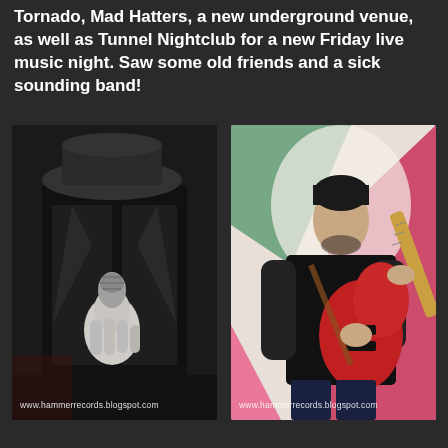Tornado, Mad Hatters, a new underground venue, as well as Tunnel Nightclub for a new Friday live music night. Saw some old friends and a sick sounding band!
[Figure (photo): Close-up black and white photo of a performer in dark leather outfit holding a microphone, with dramatic lighting. Watermark: www.hammerrecords.blogspot.com]
[Figure (photo): Photo of a male guitarist playing a red electric guitar against a colorful pink and green background. He wears a black t-shirt. Watermark: www.hammerrecords.blogspot.com]